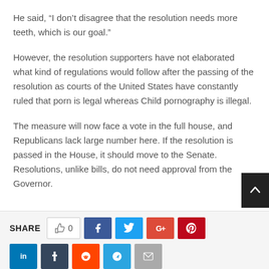He said, “I don’t disagree that the resolution needs more teeth, which is our goal.”
However, the resolution supporters have not elaborated what kind of regulations would follow after the passing of the resolution as courts of the United States have constantly ruled that porn is legal whereas Child pornography is illegal.
The measure will now face a vote in the full house, and Republicans lack large number here. If the resolution is passed in the House, it should move to the Senate. Resolutions, unlike bills, do not need approval from the Governor.
[Figure (infographic): Share bar with SHARE label, like button showing 0, Facebook, Twitter, Google+, Pinterest social share buttons in a row, and a second row with LinkedIn, Tumblr, Reddit, Telegram, and Email buttons. A dark scroll-to-top arrow button appears on the right.]